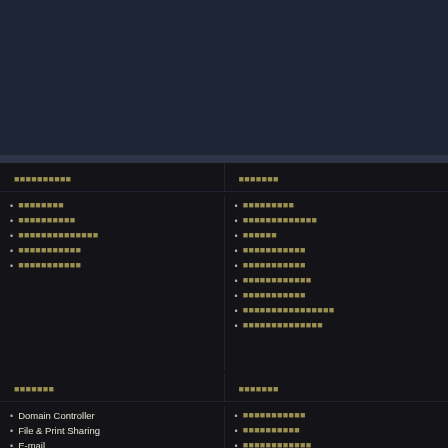[Figure (screenshot): Dark background upper portion of a software/network configuration page]
[corrupted text]
[corrupted text]
[corrupted]
[corrupted]
[corrupted]
[corrupted]
[corrupted]
[corrupted]
[corrupted]
[corrupted]
[corrupted]
[corrupted]
[corrupted]
[corrupted]
[corrupted]
[corrupted text]
[corrupted text]
Domain Controller
File & Print Sharing
E-mail
[corrupted]
[corrupted]
[corrupted]